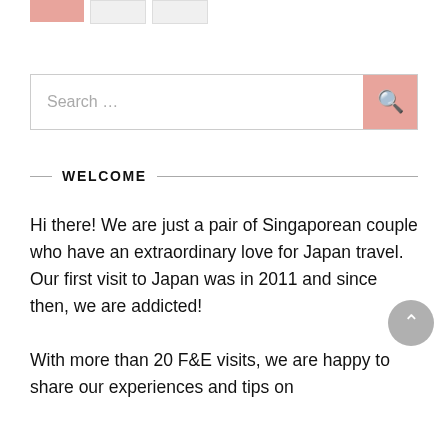[Figure (other): Three small image placeholder boxes at the top: one pink/salmon filled, two with light grey/white fill with border]
[Figure (other): Search bar with placeholder text 'Search ...' and a pink/salmon search button with magnifying glass icon on the right]
WELCOME
Hi there! We are just a pair of Singaporean couple who have an extraordinary love for Japan travel. Our first visit to Japan was in 2011 and since then, we are addicted!
With more than 20 F&E visits, we are happy to share our experiences and tips on